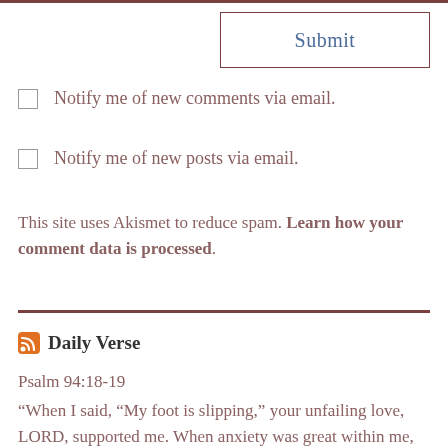Submit
Notify me of new comments via email.
Notify me of new posts via email.
This site uses Akismet to reduce spam. Learn how your comment data is processed.
Daily Verse
Psalm 94:18-19
“When I said, “My foot is slipping,” your unfailing love, LORD, supported me. When anxiety was great within me, your consolation brought me joy.”